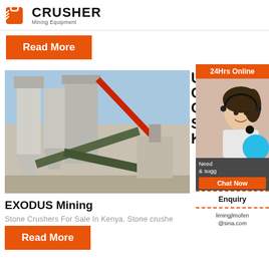CRUSHER Mining Equipment
Read More
[Figure (photo): Industrial stone crusher / concrete crushing plant machinery with conveyor belts and silos against a blue sky]
Used Concrete Crusher Sale In Kenya
[Figure (photo): Customer service representative (woman wearing headset) with 24Hrs Online banner, Need & suggestions chat panel, Enquiry section, and email limingjlmofen@sina.com]
EXODUS Mining
Stone Crushers For Sale In Kenya. Stone crushe
Read More